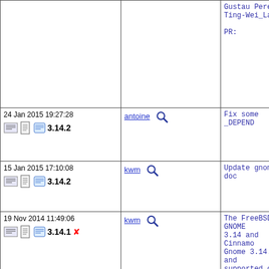| Date/Version | Author | Description |
| --- | --- | --- |
|  |  | Gustau Perez
Ting-Wei_Lan

PR: |
| 24 Jan 2015 19:27:28
3.14.2 | antoine | Fix some _DEPEND |
| 15 Jan 2015 17:10:08
3.14.2 | kwm | Update gnome-doc |
| 19 Nov 2014 11:49:06
3.14.1 | kwm | The FreeBSD GNOME
3.14 and Cinnamo
Gnome 3.14.1 and
supported on Fre

This commit remo
bindings and som
can't be compile
to more recent v
allow them to co

Apart from updat

GDM is more inte
and handles seve
the GNOME deskto
you want to use
startx, you will
screen/screensav |